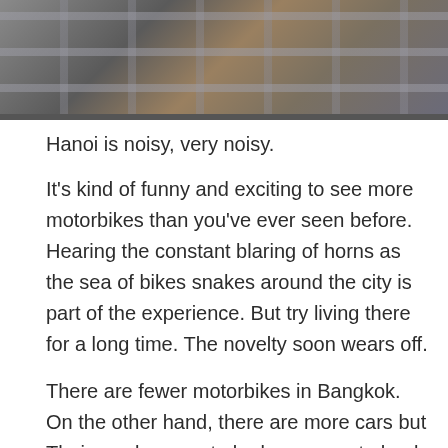[Figure (photo): Aerial or elevated view of an urban architectural structure with steel beams/railings and warm-lit interior spaces visible below, suggesting a city building or transit hub.]
Hanoi is noisy, very noisy.
It's kind of funny and exciting to see more motorbikes than you've ever seen before. Hearing the constant blaring of horns as the sea of bikes snakes around the city is part of the experience. But try living there for a long time. The novelty soon wears off.
There are fewer motorbikes in Bangkok. On the other hand, there are more cars but Thai people seem to be less eager to honk than the